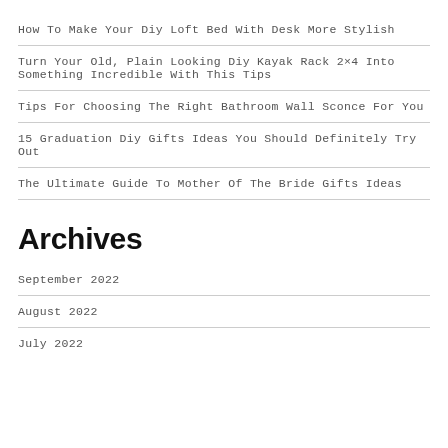How To Make Your Diy Loft Bed With Desk More Stylish
Turn Your Old, Plain Looking Diy Kayak Rack 2×4 Into Something Incredible With This Tips
Tips For Choosing The Right Bathroom Wall Sconce For You
15 Graduation Diy Gifts Ideas You Should Definitely Try Out
The Ultimate Guide To Mother Of The Bride Gifts Ideas
Archives
September 2022
August 2022
July 2022